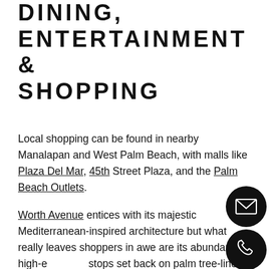DINING, ENTERTAINMENT & SHOPPING
Local shopping can be found in nearby Manalapan and West Palm Beach, with malls like Plaza Del Mar, 45th Street Plaza, and the Palm Beach Outlets.
Worth Avenue entices with its majestic Mediterranean-inspired architecture but what really leaves shoppers in awe are its abundant high-end stops set back on palm tree-lined streets and tucked with European style courtyards. These retailers include big names in fashion, from Ralph Lauren to Cartier, Chanel, and Gucci. Foodies will find a myriad of dazzling restaurants with lip-smacking menus and top-notch customer services. You can step into BiCE Ristorante Palm Beach for a